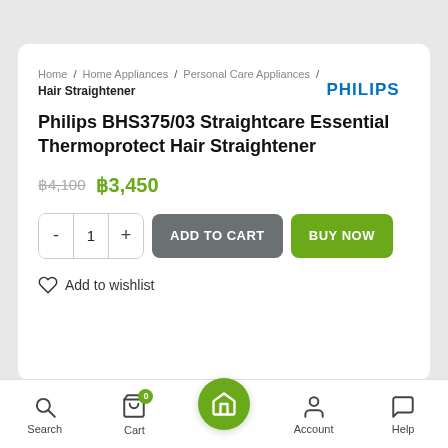Home / Home Appliances / Personal Care Appliances / Hair Straightener
PHILIPS
Philips BHS375/03 Straightcare Essential Thermoprotect Hair Straightener
฿4,100  ฿3,450
- 1 +  ADD TO CART  BUY NOW
Add to wishlist
Search  Cart  Home  Account  Help